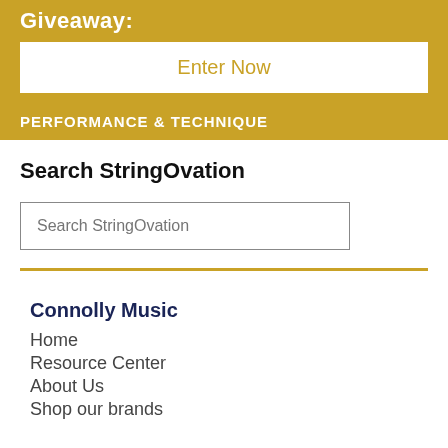Giveaway:
Enter Now
PERFORMANCE & TECHNIQUE
Search StringOvation
Search StringOvation
Connolly Music
Home
Resource Center
About Us
Shop our brands